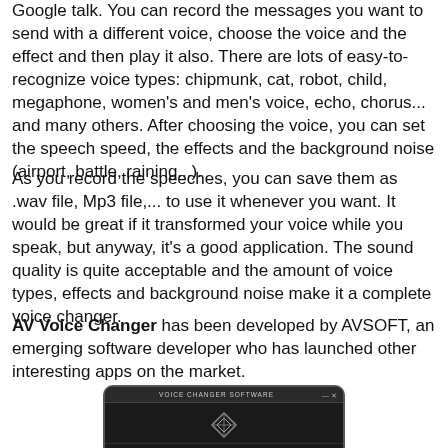Google talk. You can record the messages you want to send with a different voice, choose the voice and the effect and then play it also. There are lots of easy-to-recognize voice types: chipmunk, cat, robot, child, megaphone, women's and men's voice, echo, chorus... and many others. After choosing the voice, you can set the speech speed, the effects and the background noise (airport, battle, raining...).
As you record the speeches, you can save them as .wav file, Mp3 file,... to use it whenever you want. It would be great if it transformed your voice while you speak, but anyway, it's a good application. The sound quality is quite acceptable and the amount of voice types, effects and background noise make it a complete voice changer.
AV Voice Changer has been developed by AVSOFT, an emerging software developer who has launched other interesting apps on the market.
[Figure (screenshot): Screenshot of AV Voice Changer software interface showing a dark-themed application window with title bar reading 'VOICE CHANGER SOFTWARE', a diamond logo, menu items including Preferences, Skins, Help, and tabs for Recorder, Player, Comparator]